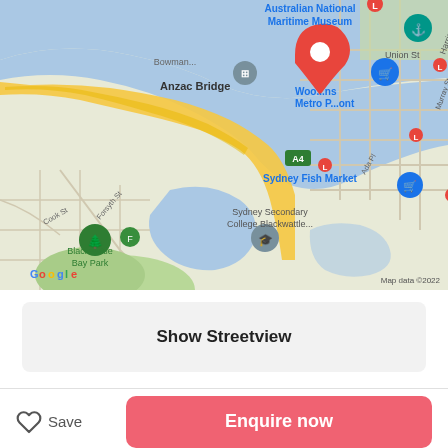[Figure (map): Google Maps screenshot showing Pyrmont area in Sydney, Australia. Visible landmarks include Anzac Bridge, Blackwattle Bay Park, Sydney Fish Market, Sydney Secondary College Blackwattle, Woolworths Metro Pyrmont, Australian National Maritime Museum, and surrounding streets. A red map pin is placed in the Pyrmont area. Map data ©2022.]
Show Streetview
Save
Enquire now